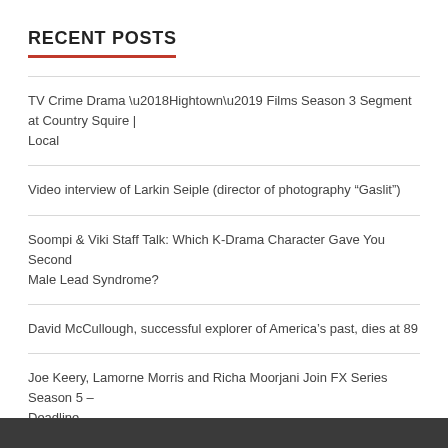RECENT POSTS
TV Crime Drama ‘Hightown’ Films Season 3 Segment at Country Squire | Local
Video interview of Larkin Seiple (director of photography “Gaslit”)
Soompi & Viki Staff Talk: Which K-Drama Character Gave You Second Male Lead Syndrome?
David McCullough, successful explorer of America’s past, dies at 89
Joe Keery, Lamorne Morris and Richa Moorjani Join FX Series Season 5 – Deadline